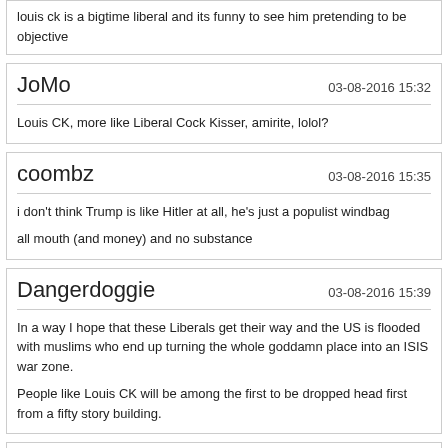louis ck is a bigtime liberal and its funny to see him pretending to be objective
JoMo
03-08-2016 15:32
Louis CK, more like Liberal Cock Kisser, amirite, lolol?
coombz
03-08-2016 15:35
i don't think Trump is like Hitler at all, he's just a populist windbag

all mouth (and money) and no substance
Dangerdoggie
03-08-2016 15:39
In a way I hope that these Liberals get their way and the US is flooded with muslims who end up turning the whole goddamn place into an ISIS war zone.

People like Louis CK will be among the first to be dropped head first from a fifty story building.
LouCypher
03-08-2016 15:39